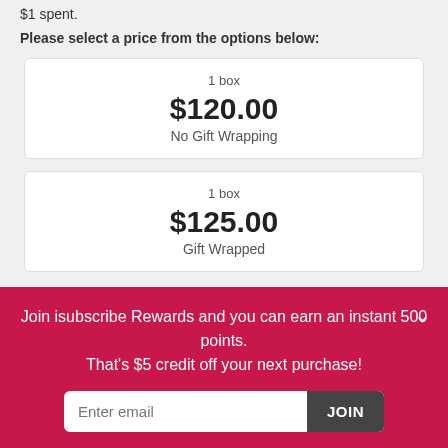$1 spent.
Please select a price from the options below:
| 1 box | $120.00 | No Gift Wrapping |
| 1 box | $125.00 | Gift Wrapped |
Join isubscribe Rewards and you can earn an instant 500 points.
That's $5 credit off your next purchase!